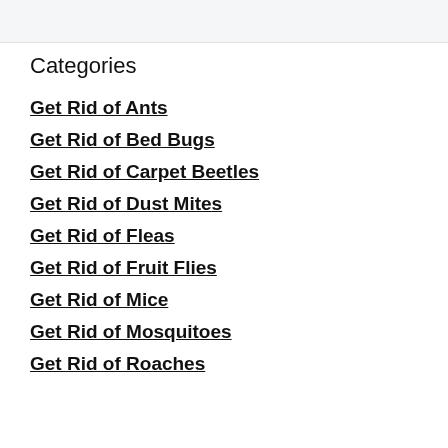Categories
Get Rid of Ants
Get Rid of Bed Bugs
Get Rid of Carpet Beetles
Get Rid of Dust Mites
Get Rid of Fleas
Get Rid of Fruit Flies
Get Rid of Mice
Get Rid of Mosquitoes
Get Rid of Roaches